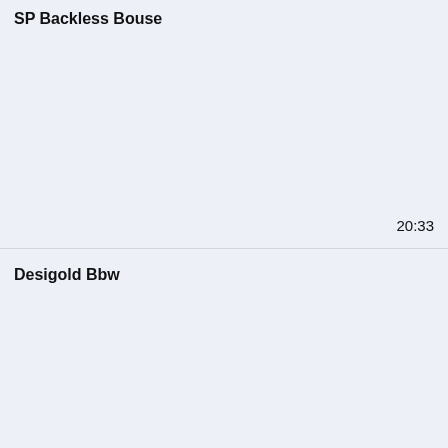SP Backless Bouse
20:33
Desigold Bbw